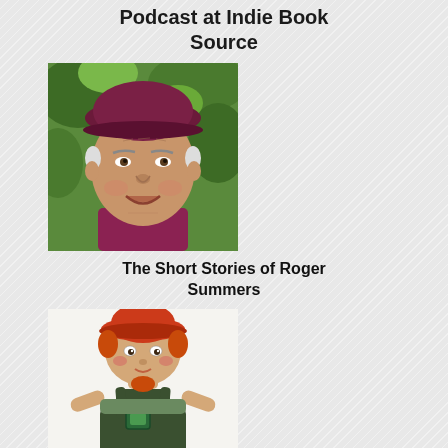Podcast at Indie Book Source
[Figure (photo): Elderly man smiling, wearing a dark maroon flat cap and maroon shirt, outdoors with green foliage background]
The Short Stories of Roger Summers
[Figure (photo): Cabbage Patch Kids doll with red/orange hair and hat, wearing dark green overalls with a patch, arms outstretched, against white background]